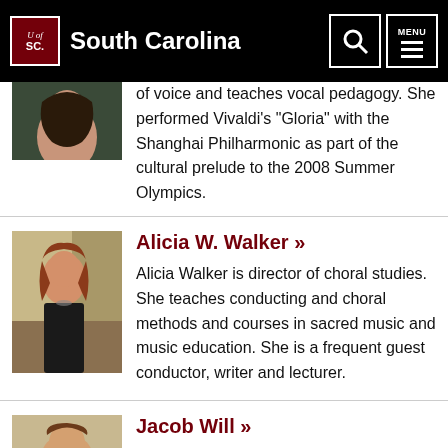University of South Carolina
of voice and teaches vocal pedagogy. She performed Vivaldi's “Gloria” with the Shanghai Philharmonic as part of the cultural prelude to the 2008 Summer Olympics.
Alicia W. Walker »
Alicia Walker is director of choral studies. She teaches conducting and choral methods and courses in sacred music and music education. She is a frequent guest conductor, writer and lecturer.
Jacob Will »